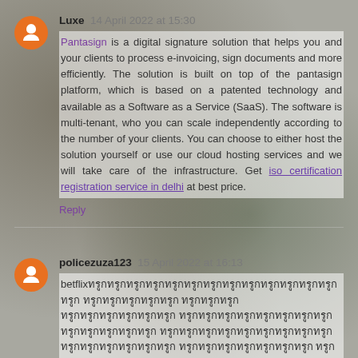Luxe 14 April 2022 at 15:30
Pantasign is a digital signature solution that helps you and your clients to process e-invoicing, sign documents and more efficiently. The solution is built on top of the pantasign platform, which is based on a patented technology and available as a Software as a Service (SaaS). The software is multi-tenant, who you can scale independently according to the number of your clients. You can choose to either host the solution yourself or use our cloud hosting services and we will take care of the infrastructure. Get iso certification registration service in delhi at best price.
Reply
policezuza123 15 April 2022 at 16:13
betflix Thai text content
Reply